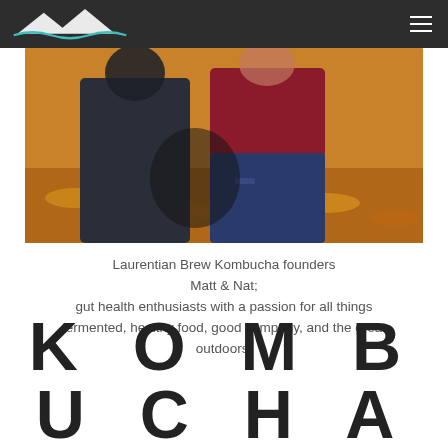Laurentian Brew Kombucha - navigation header with logo and hamburger menu
[Figure (photo): Two people (Matt and Nat) standing outdoors among autumn fallen leaves, wearing casual clothing — one in a dark jacket, one in a burgundy top and ripped jeans.]
Laurentian Brew Kombucha founders Matt & Nat; gut health enthusiasts with a passion for all things fermented, healthy food, good company, and the great outdoors.
KOMBUCHA